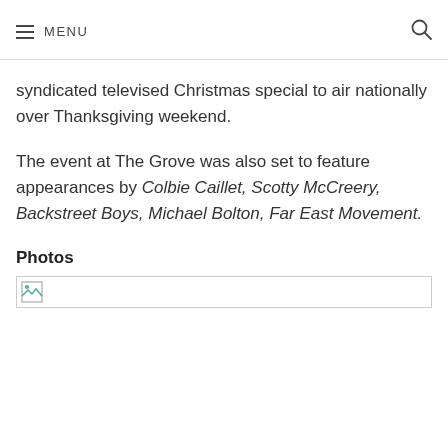MENU
syndicated televised Christmas special to air nationally over Thanksgiving weekend.
The event at The Grove was also set to feature appearances by Colbie Caillet, Scotty McCreery, Backstreet Boys, Michael Bolton, Far East Movement.
Photos
[Figure (photo): Broken image placeholder for a photo]